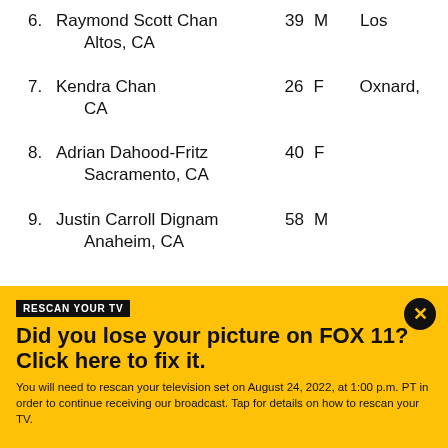6. Raymond Scott Chan   39   M   Los Altos, CA
7. Kendra Chan   26   F   Oxnard, CA
8. Adrian Dahood-Fritz   40   F   Sacramento, CA
9. Justin Carroll Dignam   58   M   Anaheim, CA
RESCAN YOUR TV
Did you lose your picture on FOX 11? Click here to fix it.
You will need to rescan your television set on August 24, 2022, at 1:00 p.m. PT in order to continue receiving our broadcast. Tap for details on how to rescan your TV.